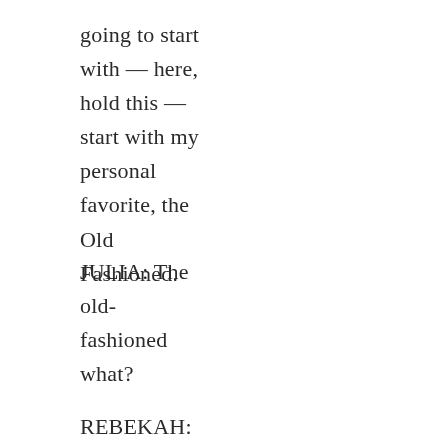going to start with — here, hold this — start with my personal favorite, the Old Fashioned.
JULIA: The old-fashioned what?
REBEKAH: